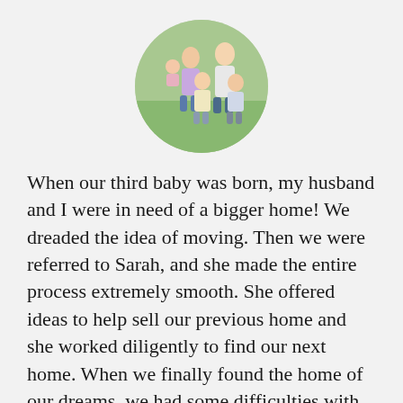[Figure (photo): A circular cropped photo of a family: a mother, father, and three young children standing outdoors in a park or field setting.]
When our third baby was born, my husband and I were in need of a bigger home! We dreaded the idea of moving. Then we were referred to Sarah, and she made the entire process extremely smooth. She offered ideas to help sell our previous home and she worked diligently to find our next home. When we finally found the home of our dreams, we had some difficulties with the seller; however, Sarah maintained